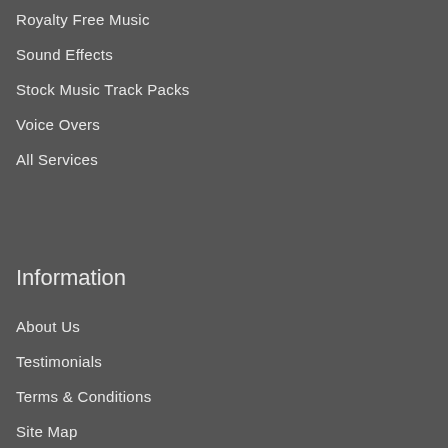Royalty Free Music
Sound Effects
Stock Music Track Packs
Voice Overs
All Services
Information
About Us
Testimonials
Terms & Conditions
Site Map